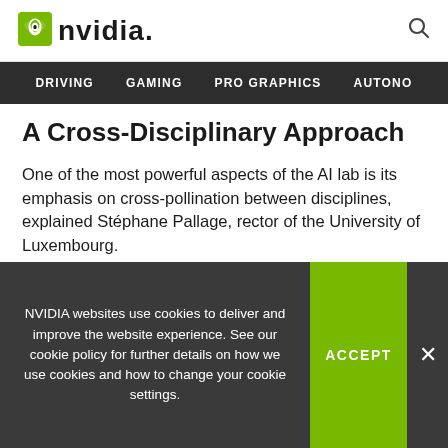NVIDIA [logo] DRIVING  GAMING  PRO GRAPHICS  AUTONO
A Cross-Disciplinary Approach
One of the most powerful aspects of the AI lab is its emphasis on cross-pollination between disciplines, explained Stéphane Pallage, rector of the University of Luxembourg.
“Tackling real-world problems involves bringing together experts from across disciplines, not just the sciences but
NVIDIA websites use cookies to deliver and improve the website experience. See our cookie policy for further details on how we use cookies and how to change your cookie settings.
ACCEPT